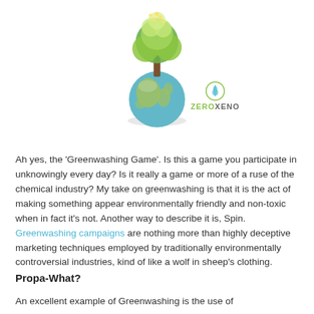[Figure (illustration): A green tree growing on top of a globe/earth illustration, symbolizing environmental themes. Below and to the right is the ZeroXeno logo with a water drop icon.]
Ah yes, the 'Greenwashing Game'. Is this a game you participate in unknowingly every day? Is it really a game or more of a ruse of the chemical industry? My take on greenwashing is that it is the act of making something appear environmentally friendly and non-toxic when in fact it's not. Another way to describe it is, Spin. Greenwashing campaigns are nothing more than highly deceptive marketing techniques employed by traditionally environmentally controversial industries, kind of like a wolf in sheep's clothing.
Propa-What?
An excellent example of Greenwashing is the use of